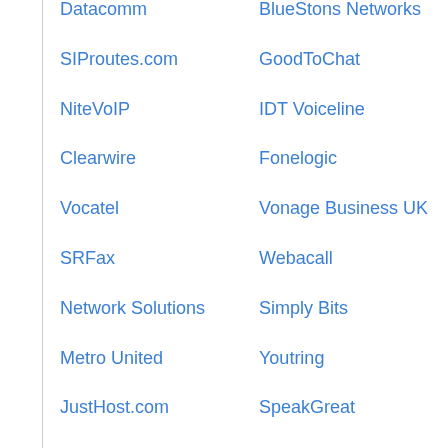Datacomm
BlueStons Networks
SIProutes.com
GoodToChat
NiteVoIP
IDT Voiceline
Clearwire
Fonelogic
Vocatel
Vonage Business UK
SRFax
Webacall
Network Solutions
Simply Bits
Metro United
Youtring
JustHost.com
SpeakGreat
yorvoice